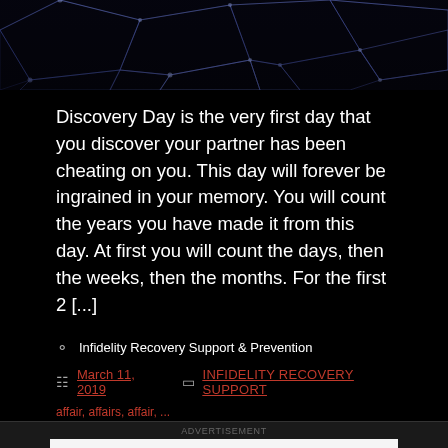[Figure (photo): Dark abstract neural/web network texture image with blue-purple glowing filaments on black background]
Discovery Day is the very first day that you discover your partner has been cheating on you. This day will forever be ingrained in your memory. You will count the years you have made it from this day. At first you will count the days, then the weeks, then the months. For the first 2 [...]
Infidelity Recovery Support & Prevention
March 11, 2019
INFIDELITY RECOVERY SUPPORT
ADVERTISEMENT
AUTOMATTIC
Build a better web and a better world.